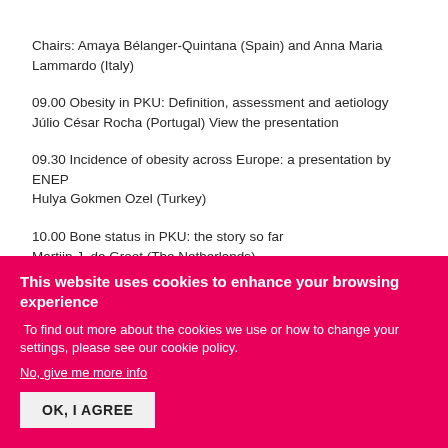Chairs: Amaya Bélanger-Quintana (Spain) and Anna Maria Lammardo (Italy)
09.00 Obesity in PKU: Definition, assessment and aetiology
Júlio César Rocha (Portugal) View the presentation
09.30 Incidence of obesity across Europe: a presentation by ENEP
Hulya Gokmen Ozel (Turkey)
10.00 Bone status in PKU: the story so far
Martijn J. de Groot (The Netherlands)
This website uses cookies to enhance your browsing experience
To find out more about the cookies we use or how to change your settings, please see our cookie policy.
No, give me more info
OK, I AGREE